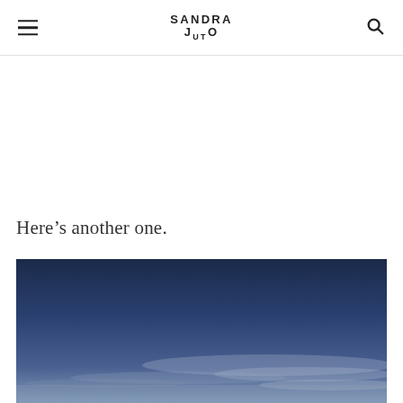SANDRA JUTO
Here’s another one.
[Figure (photo): Photograph of a blue sky with wispy clouds, gradient from dark navy at the top to lighter blue-grey near the horizon]